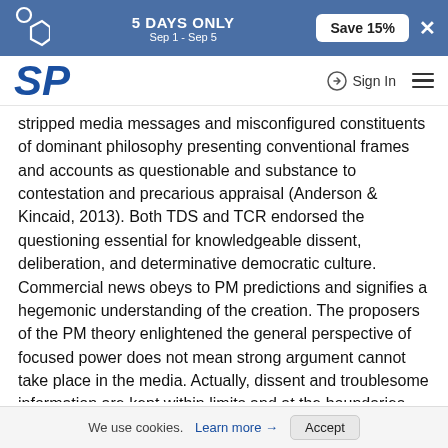5 DAYS ONLY Sep 1 - Sep 5 Save 15%
SP Sign In
stripped media messages and misconfigured constituents of dominant philosophy presenting conventional frames and accounts as questionable and substance to contestation and precarious appraisal (Anderson & Kincaid, 2013). Both TDS and TCR endorsed the questioning essential for knowledgeable dissent, deliberation, and determinative democratic culture. Commercial news obeys to PM predictions and signifies a hegemonic understanding of the creation. The proposers of the PM theory enlightened the general perspective of focused power does not mean strong argument cannot take place in the media. Actually, dissent and troublesome information are kept within limits and at the boundaries, so that while their occurrence shows that the system is not
We use cookies. Learn more → Accept